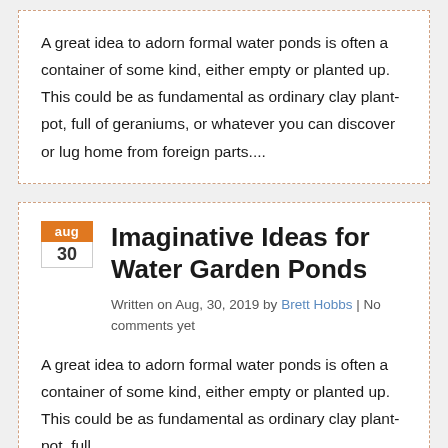A great idea to adorn formal water ponds is often a container of some kind, either empty or planted up. This could be as fundamental as ordinary clay plant-pot, full of geraniums, or whatever you can discover or lug home from foreign parts....
Imaginative Ideas for Water Garden Ponds
Written on Aug, 30, 2019 by Brett Hobbs | No comments yet
A great idea to adorn formal water ponds is often a container of some kind, either empty or planted up. This could be as fundamental as ordinary clay plant-pot, full